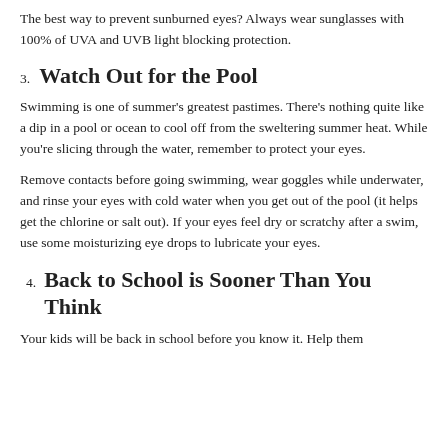like something is stuck in them, or they could feel sore.
The best way to prevent sunburned eyes? Always wear sunglasses with 100% of UVA and UVB light blocking protection.
3. Watch Out for the Pool
Swimming is one of summer's greatest pastimes. There's nothing quite like a dip in a pool or ocean to cool off from the sweltering summer heat. While you're slicing through the water, remember to protect your eyes.
Remove contacts before going swimming, wear goggles while underwater, and rinse your eyes with cold water when you get out of the pool (it helps get the chlorine or salt out). If your eyes feel dry or scratchy after a swim, use some moisturizing eye drops to lubricate your eyes.
4. Back to School is Sooner Than You Think
Your kids will be back in school before you know it. Help them